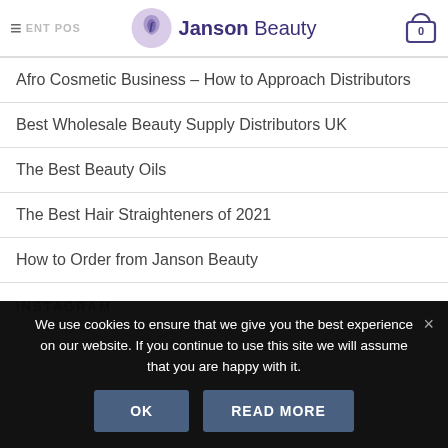Janson Beauty
Afro Cosmetic Business – How to Approach Distributors
Best Wholesale Beauty Supply Distributors UK
The Best Beauty Oils
The Best Hair Straighteners of 2021
How to Order from Janson Beauty
INSTAGRAM
We use cookies to ensure that we give you the best experience on our website. If you continue to use this site we will assume that you are happy with it.